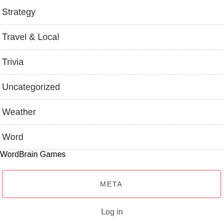Strategy
Travel & Local
Trivia
Uncategorized
Weather
Word
WordBrain Games
META
Log in